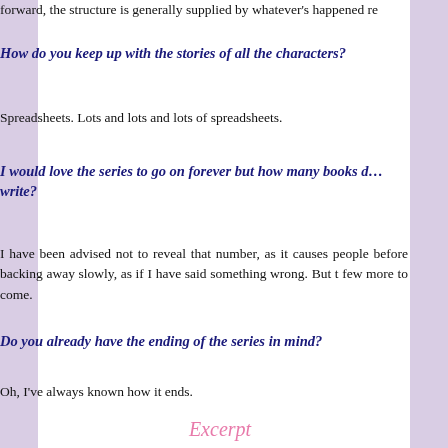forward, the structure is generally supplied by whatever's happened re
How do you keep up with the stories of all the characters?
Spreadsheets. Lots and lots and lots of spreadsheets.
I would love the series to go on forever but how many books d… write?
I have been advised not to reveal that number, as it causes people before backing away slowly, as if I have said something wrong. But t few more to come.
Do you already have the ending of the series in mind?
Oh, I've always known how it ends.
Excerpt